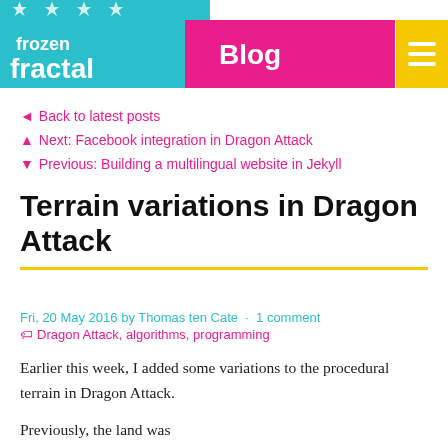Frozen Fractal Blog
◄ Back to latest posts
▲ Next: Facebook integration in Dragon Attack
▼ Previous: Building a multilingual website in Jekyll
Terrain variations in Dragon Attack
Fri, 20 May 2016 by Thomas ten Cate · 1 comment
Dragon Attack, algorithms, programming
Earlier this week, I added some variations to the procedural terrain in Dragon Attack.
Previously, the land was...